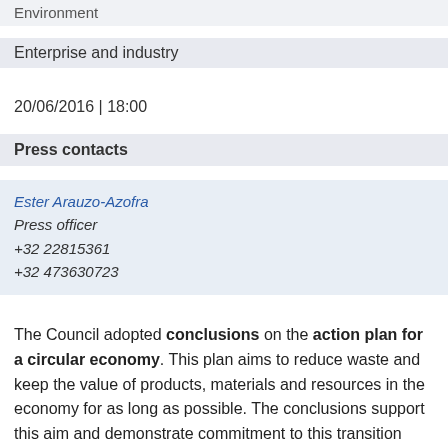Environment
Enterprise and industry
20/06/2016 | 18:00
Press contacts
Ester Arauzo-Azofra
Press officer
+32 22815361
+32 473630723
The Council adopted conclusions on the action plan for a circular economy. This plan aims to reduce waste and keep the value of products, materials and resources in the economy for as long as possible. The conclusions support this aim and demonstrate commitment to this transition towards a more sustainable model, for instance by cutting resource use, boosting recycling and better managing waste.